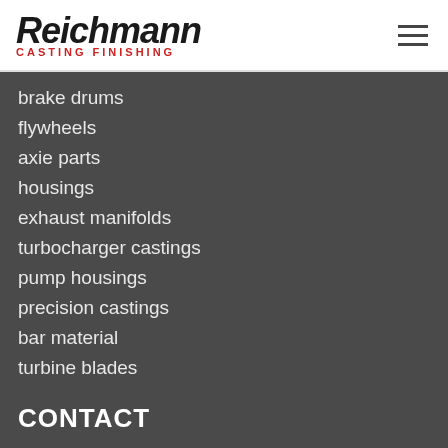[Figure (logo): Reichmann Casting Finishing logo — bold italic black wordmark with red subtitle text 'CASTING FINISHING']
brake drums
flywheels
axie parts
housings
exhaust manifolds
turbocharger castings
pump housings
precision castings
bar material
turbine blades
CONTACT